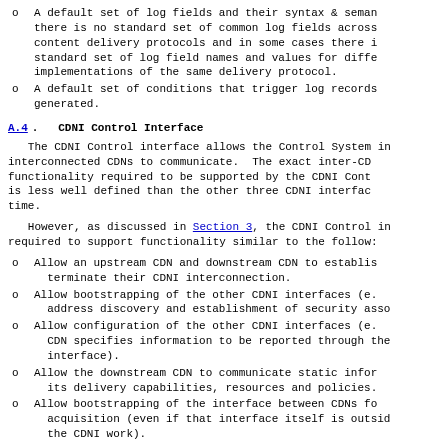A default set of log fields and their syntax & semantics; there is no standard set of common log fields across content delivery protocols and in some cases there is no standard set of log field names and values for different implementations of the same delivery protocol.
A default set of conditions that trigger log records being generated.
A.4. CDNI Control Interface
The CDNI Control interface allows the Control System in interconnected CDNs to communicate. The exact inter-CDN functionality required to be supported by the CDNI Control interface is less well defined than the other three CDNI interfaces at this time.
However, as discussed in Section 3, the CDNI Control interface is required to support functionality similar to the following:
Allow an upstream CDN and downstream CDN to establish and terminate their CDNI interconnection.
Allow bootstrapping of the other CDNI interfaces (e.g. address discovery and establishment of security associations).
Allow configuration of the other CDNI interfaces (e.g. upstream CDN specifies information to be reported through the Logging interface).
Allow the downstream CDN to communicate static information about its delivery capabilities, resources and policies.
Allow bootstrapping of the interface between CDNs for content acquisition (even if that interface itself is outside the scope of the CDNI work).